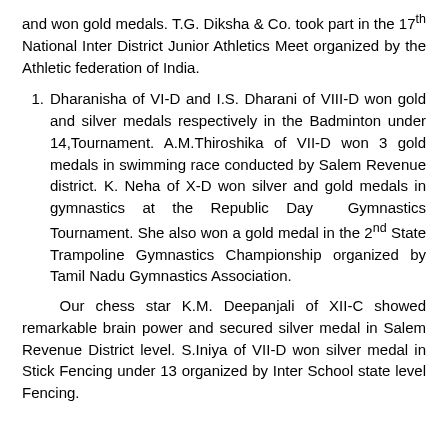and won gold medals. T.G. Diksha & Co. took part in the 17th National Inter District Junior Athletics Meet organized by the Athletic federation of India.
Dharanisha of VI-D and I.S. Dharani of VIII-D won gold and silver medals respectively in the Badminton under 14,Tournament. A.M.Thiroshika of VII-D won 3 gold medals in swimming race conducted by Salem Revenue district. K. Neha of X-D won silver and gold medals in gymnastics at the Republic Day Gymnastics Tournament. She also won a gold medal in the 2nd State Trampoline Gymnastics Championship organized by Tamil Nadu Gymnastics Association.
Our chess star K.M. Deepanjali of XII-C showed remarkable brain power and secured silver medal in Salem Revenue District level. S.Iniya of VII-D won silver medal in Stick Fencing under 13 organized by Inter School state level Fencing.